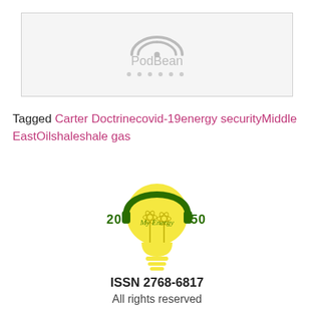[Figure (logo): PodBean podcast player widget placeholder — light gray bordered rectangle with PodBean logo (arc wifi-style icon above text 'PodBean' in gray) and small dots below]
Tagged Carter Doctrinecovid-19energy securityMiddle EastOilshaleshale gas
[Figure (logo): My Energy 2050 logo — lightbulb graphic in yellow with dark green headphone arc, '20' and '50' in green block text on sides, cursive 'My Energy' text in center, wind turbine illustration inside bulb, horizontal lines at base]
ISSN 2768-6817
All rights reserved